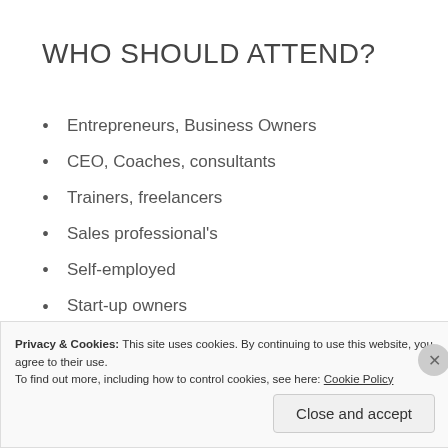WHO SHOULD ATTEND?
Entrepreneurs, Business Owners
CEO, Coaches, consultants
Trainers, freelancers
Sales professional's
Self-employed
Start-up owners
Privacy & Cookies: This site uses cookies. By continuing to use this website, you agree to their use. To find out more, including how to control cookies, see here: Cookie Policy